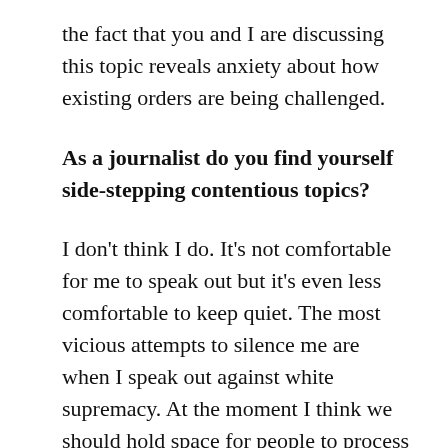the fact that you and I are discussing this topic reveals anxiety about how existing orders are being challenged.
As a journalist do you find yourself side-stepping contentious topics?
I don't think I do. It's not comfortable for me to speak out but it's even less comfortable to keep quiet. The most vicious attempts to silence me are when I speak out against white supremacy. At the moment I think we should hold space for people to process thoughts in public. No one knows everything. I personally have said things out of ignorance. And it was uncomfortable when I was